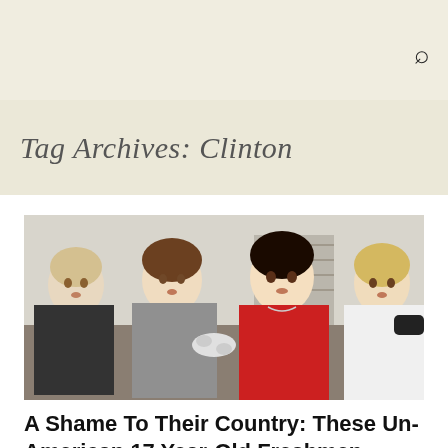🔍
Tag Archives: Clinton
[Figure (photo): Four young men sitting on a couch, two holding game controllers, looking upward with bored or distracted expressions, in a casual indoor setting.]
A Shame To Their Country: These Un-American 17 Year-Old Freshmen Didn't Vote